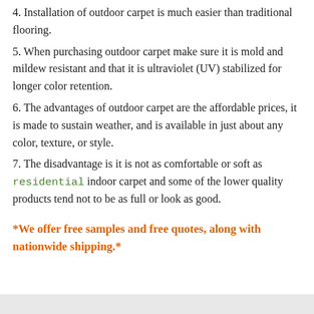4. Installation of outdoor carpet is much easier than traditional flooring.
5. When purchasing outdoor carpet make sure it is mold and mildew resistant and that it is ultraviolet (UV) stabilized for longer color retention.
6. The advantages of outdoor carpet are the affordable prices, it is made to sustain weather, and is available in just about any color, texture, or style.
7. The disadvantage is it is not as comfortable or soft as residential indoor carpet and some of the lower quality products tend not to be as full or look as good.
*We offer free samples and free quotes, along with nationwide shipping.*